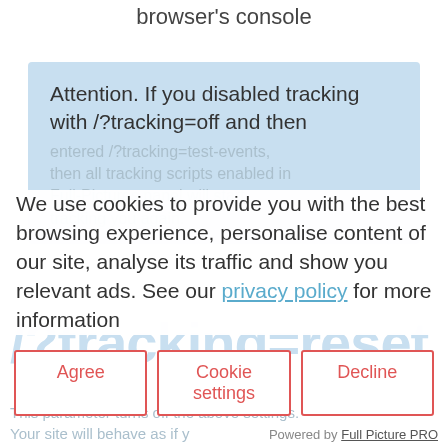browser's console
Attention. If you disabled tracking with /?tracking=off and then
entered /?tracking=test-events, then all tracking scripts enabled in Full-Pictures panel will start tracking you again.
We use cookies to provide you with the best browsing experience, personalise content of our site, analyse its traffic and show you relevant ads. See our privacy policy for more information
/?tracking=reset
Agree | Cookie settings | Decline
This parameter turns off the above settings. Your site will behave as if y
Powered by Full Picture PRO